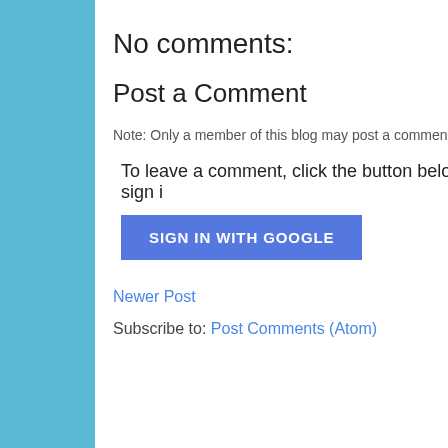No comments:
Post a Comment
Note: Only a member of this blog may post a comment.
To leave a comment, click the button below to sign i
[Figure (other): Blue 'SIGN IN WITH GOOGLE' button]
Newer Post
Home
Subscribe to: Post Comments (Atom)
Power